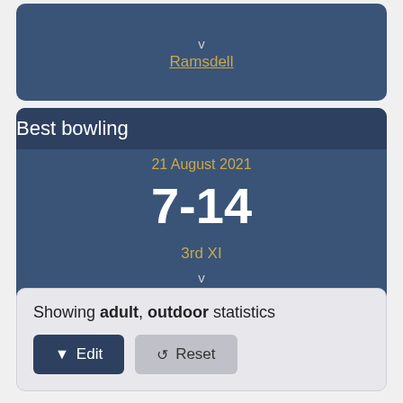v
Ramsdell
Best bowling
21 August 2021
7-14
3rd XI
v
Portchester
Showing adult, outdoor statistics
Edit
Reset